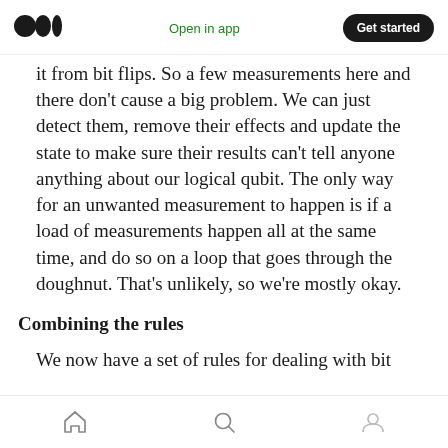Medium | Open in app | Get started
it from bit flips. So a few measurements here and there don't cause a big problem. We can just detect them, remove their effects and update the state to make sure their results can't tell anyone anything about our logical qubit. The only way for an unwanted measurement to happen is if a load of measurements happen all at the same time, and do so on a loop that goes through the doughnut. That's unlikely, so we're mostly okay.
Combining the rules
We now have a set of rules for dealing with bit